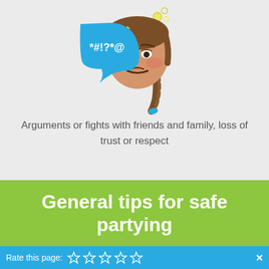[Figure (illustration): Cartoon face of a girl with braided hair and an angry/upset expression, with a speech bubble containing '*#!?*@' symbols indicating swearing or arguments. Small sparkle/sweat symbols appear near her head.]
Arguments or fights with friends and family, loss of trust or respect
General tips for safe partying
Rate this page: ☆ ☆ ☆ ☆ ☆  ×